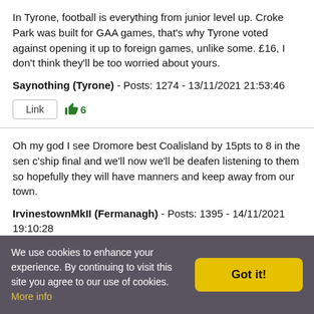In Tyrone, football is everything from junior level up. Croke Park was built for GAA games, that's why Tyrone voted against opening it up to foreign games, unlike some. £16, I don't think they'll be too worried about yours.
Saynothing (Tyrone) - Posts: 1274 - 13/11/2021 21:53:46
Link 👍6
Oh my god I see Dromore best Coalisland by 15pts to 8 in the sen c'ship final and we'll now we'll be deafen listening to them so hopefully they will have manners and keep away from our town.
IrvinestownMkII (Fermanagh) - Posts: 1395 - 14/11/2021 19:10:28
Link 👍0
We use cookies to enhance your experience. By continuing to visit this site you agree to our use of cookies. More info